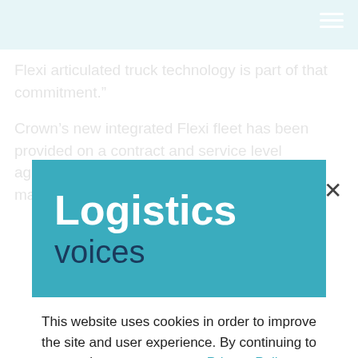Flexi articulated truck technology is part of that commitment."
Crown’s new integrated Flexi fleet has been provided on a contract and service level agreement that includes all planned maintenance, safety inspections and repairs in...
[Figure (logo): Logistics Voices logo: white bold text 'Logistics' and dark blue text 'voices' on teal background]
This website uses cookies in order to improve the site and user experience. By continuing to use it, you agree to our Privacy Policy.
I understand